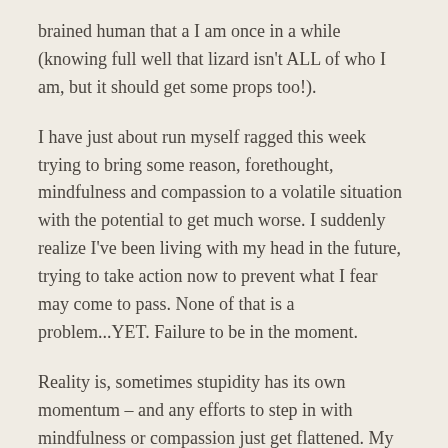brained human that a I am once in a while (knowing full well that lizard isn't ALL of who I am, but it should get some props too!).
I have just about run myself ragged this week trying to bring some reason, forethought, mindfulness and compassion to a volatile situation with the potential to get much worse. I suddenly realize I've been living with my head in the future, trying to take action now to prevent what I fear may come to pass. None of that is a problem...YET. Failure to be in the moment.
Reality is, sometimes stupidity has its own momentum – and any efforts to step in with mindfulness or compassion just get flattened. My lizard brain has been shouting FUCK THIS SHIT at me, I've got so many inspiring and interesting things to be doing with my energy, why the hell am I wasting a single joule of energy on something I'm having zero impact on anyway.